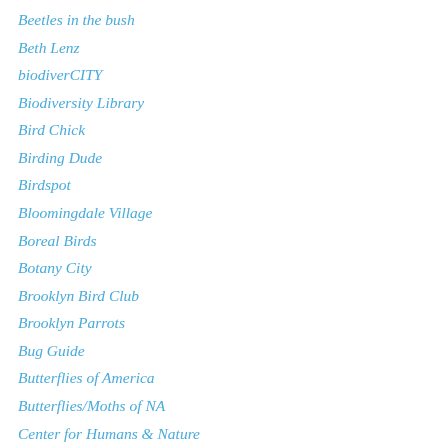Beetles in the bush
Beth Lenz
biodiverCITY
Biodiversity Library
Bird Chick
Birding Dude
Birdspot
Bloomingdale Village
Boreal Birds
Botany City
Brooklyn Bird Club
Brooklyn Parrots
Bug Guide
Butterflies of America
Butterflies/Moths of NA
Center for Humans & Nature
City Birder
Conn. Audubon
Conn. Botanical Society
Connected by Nature